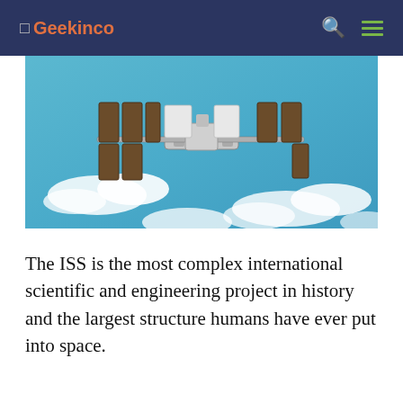□ Geekinco
[Figure (photo): Aerial photograph of the International Space Station (ISS) in orbit above Earth, showing solar panels and Earth's blue surface with clouds below.]
The ISS is the most complex international scientific and engineering project in history and the largest structure humans have ever put into space.